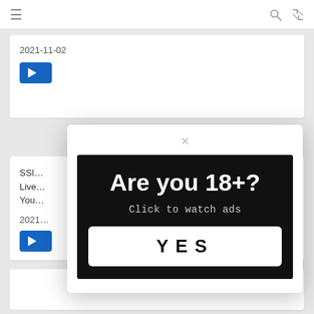≡ [hamburger menu] | [search icon] [expand icon]
2021-11-02
[Figure (screenshot): Blue play button]
SSI... Lived... Youn...
2021...
[Figure (screenshot): Blue play button (second card)]
[Figure (infographic): Age verification popup with black background. Text reads: Are you 18+? Click to watch ads. White YES button at bottom.]